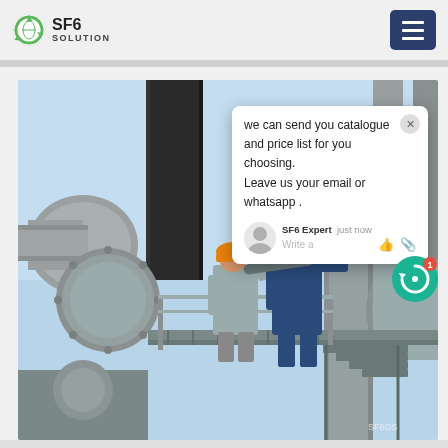[Figure (logo): SF6 Solution company logo with circular green recycling arrow icon]
[Figure (screenshot): Navigation hamburger menu button (dark blue/navy background with three white horizontal lines)]
[Figure (photo): Two workers in hard hats and protective coveralls working on large industrial SF6 gas equipment/pipes at an electrical substation. One worker wears an orange hard hat and grey coveralls; the other wears a blue hard hat and blue coveralls. They are on a metal grate platform surrounded by large grey cylindrical pipe fittings.]
we can send you catalogue and price list for you choosing.
Leave us your email or whatsapp .
SF6 Expert   just now
Write a